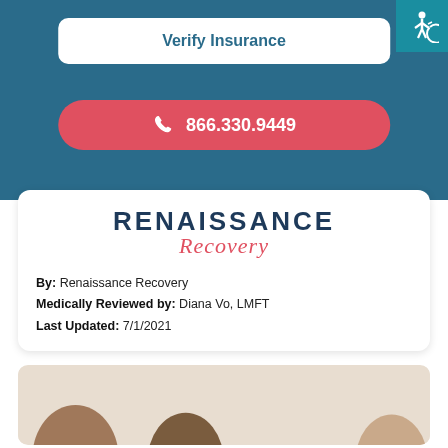Verify Insurance
866.330.9449
[Figure (logo): Renaissance Recovery logo with RENAISSANCE in bold navy uppercase letters and Recovery in red italic script below]
By: Renaissance Recovery
Medically Reviewed by: Diana Vo, LMFT
Last Updated: 7/1/2021
[Figure (photo): Partial photo of people, showing tops of heads, at the bottom of the page]